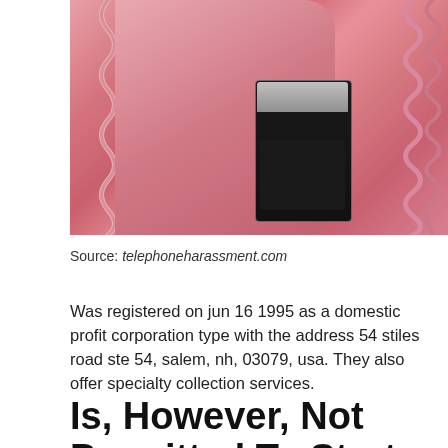[Figure (photo): Close-up photo of a pink/rose-tinted payphone with a coiled handset cord on the left side, coin slot and dark front panel visible, and additional phone units partially visible on the right with wavy cords.]
Source: telephoneharassment.com
Was registered on jun 16 1995 as a domestic profit corporation type with the address 54 stiles road ste 54, salem, nh, 03079, usa. They also offer specialty collection services.
Is, However, Not Permitted To Start Calling